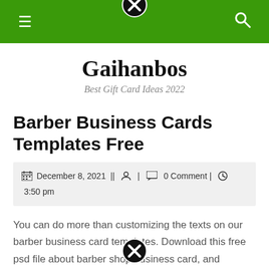[Figure (screenshot): Green navigation bar with hamburger menu icon, close (X in circle) icon centered at top, and search icon]
Gaihanbos
Best Gift Card Ideas 2022
Barber Business Cards Templates Free
December 8, 2021 || 👤 | 💬 0 Comment | 🕐 3:50 pm
You can do more than customizing the texts on our barber business card templates. Download this free psd file about barber shop business card, and discover more than 19 million professional graphic resources on freepik.